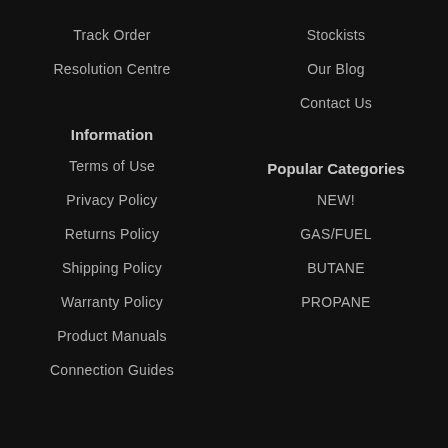Track Order
Stockists
Resolution Centre
Our Blog
Contact Us
Information
Popular Categories
Terms of Use
NEW!
Privacy Policy
GAS/FUEL
Returns Policy
BUTANE
Shipping Policy
PROPANE
Warranty Policy
Product Manuals
Connection Guides